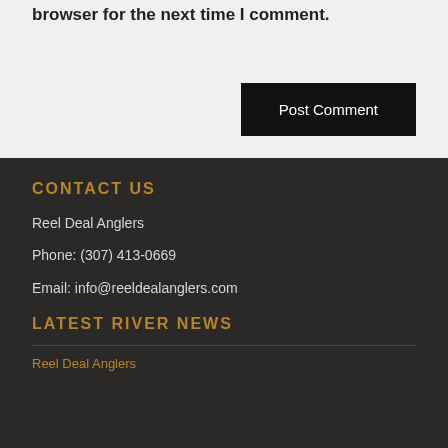browser for the next time I comment.
Post Comment
CONTACT US
Reel Deal Anglers
Phone: (307) 413-0669
Email: info@reeldealanglers.com
LATEST RIVER NEWS
Reel Deal Anglers